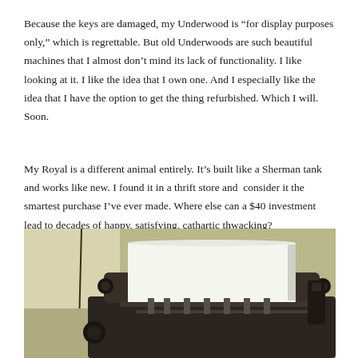Because the keys are damaged, my Underwood is “for display purposes only,” which is regrettable. But old Underwoods are such beautiful machines that I almost don’t mind its lack of functionality. I like looking at it. I like the idea that I own one. And I especially like the idea that I have the option to get the thing refurbished. Which I will. Soon.
My Royal is a different animal entirely. It’s built like a Sherman tank and works like new. I found it in a thrift store and consider it the smartest purchase I’ve ever made. Where else can a $40 investment lead to decades of happy, satisfying, cathartic thwacking?
[Figure (photo): Close-up photograph of a vintage typewriter (Royal), showing the paper roller mechanism with a white sheet of paper loaded, metal parts in dark grey/black, against a light olive/green wall background.]